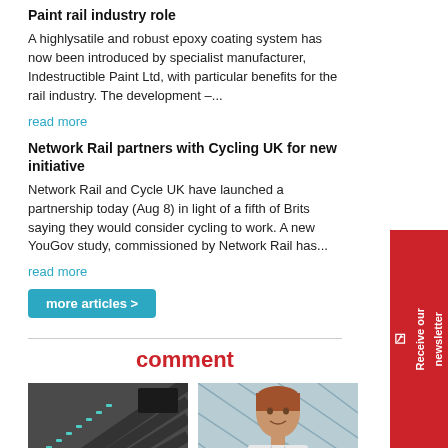Paint rail industry role
A highlysatile and robust epoxy coating system has now been introduced by specialist manufacturer, Indestructible Paint Ltd, with particular benefits for the rail industry. The development –...
read more
Network Rail partners with Cycling UK for new initiative
Network Rail and Cycle UK have launched a partnership today (Aug 8) in light of a fifth of Brits saying they would consider cycling to work. A new YouGov study, commissioned by Network Rail has...
read more
more articles >
comment
[Figure (photo): Escalator interior, looking up at angle with people at base, dark tunnel setting]
[Figure (photo): Portrait of a man in a white shirt and blue tie standing in front of a glass geometric structure]
The challenge of completing Crossrail
Preparing the industry to deliver trains for the future
Receive our newsletter